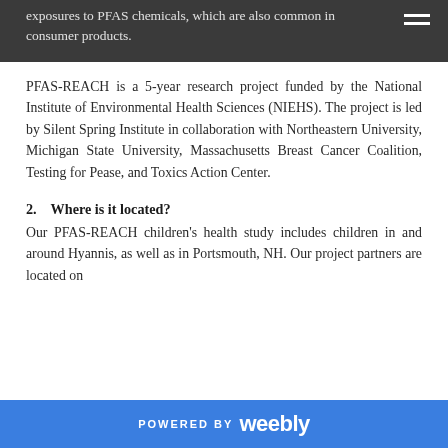exposures to PFAS chemicals, which are also common in consumer products.
PFAS-REACH is a 5-year research project funded by the National Institute of Environmental Health Sciences (NIEHS). The project is led by Silent Spring Institute in collaboration with Northeastern University, Michigan State University, Massachusetts Breast Cancer Coalition, Testing for Pease, and Toxics Action Center.
2.    Where is it located?
Our PFAS-REACH children's health study includes children in and around Hyannis, as well as in Portsmouth, NH. Our project partners are located on
POWERED BY weebly